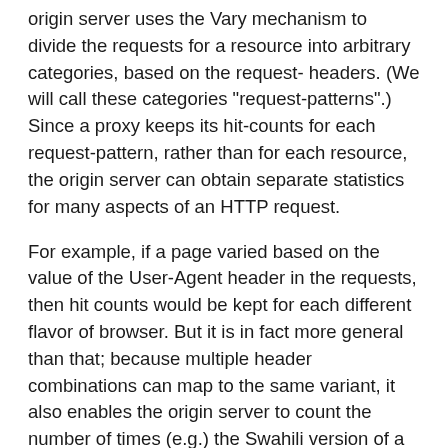origin server uses the Vary mechanism to divide the requests for a resource into arbitrary categories, based on the request- headers. (We will call these categories "request-patterns".) Since a proxy keeps its hit-counts for each request-pattern, rather than for each resource, the origin server can obtain separate statistics for many aspects of an HTTP request.
For example, if a page varied based on the value of the User-Agent header in the requests, then hit counts would be kept for each different flavor of browser. But it is in fact more general than that; because multiple header combinations can map to the same variant, it also enables the origin server to count the number of times (e.g.) the Swahili version of a page was requested, even though it is only available in English.
If a proxy does not support the Vary mechanism, then [4] says that it MUST NOT cache any response that carries a Vary header, and hence need not implement any aspect of this hit-counting or usage-limiting design for varying